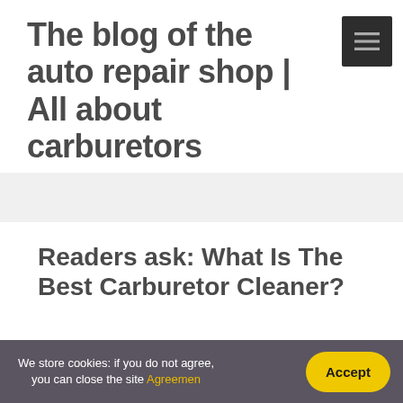The blog of the auto repair shop | All about carburetors
Readers ask: What Is The Best Carburetor Cleaner?
We store cookies: if you do not agree, you can close the site Agreemen